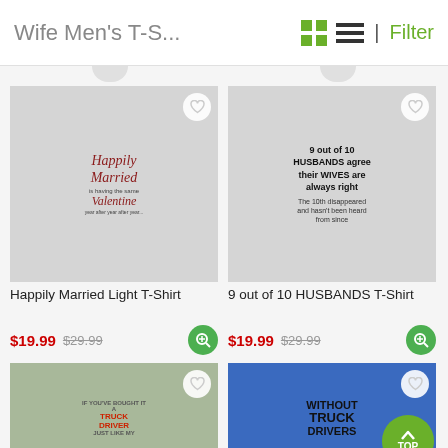Wife Men's T-S...
[Figure (photo): Happily Married Light T-Shirt product photo showing man wearing white t-shirt with script text]
Happily Married Light T-Shirt
$19.99  $29.99
[Figure (photo): 9 out of 10 HUSBANDS T-Shirt product photo showing man wearing white t-shirt]
9 out of 10 HUSBANDS T-Shirt
$19.99  $29.99
[Figure (photo): Truck driver t-shirt product photo showing man wearing olive green t-shirt]
[Figure (photo): Without Truck Drivers t-shirt product photo showing man wearing blue t-shirt]